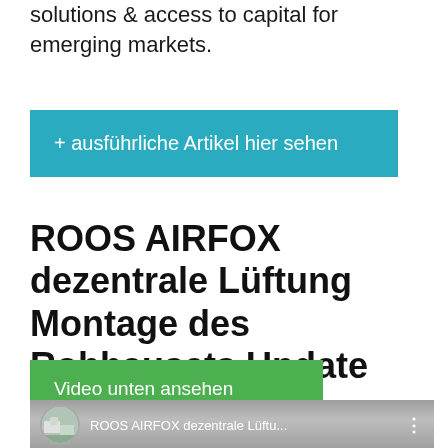solutions & access to capital for emerging markets.
+ ausführliche Artikel hier sehen
ROOS AIRFOX dezentrale Lüftung Montage des Rohbausets Update
Video unten ansehen
[Figure (screenshot): YouTube video thumbnail showing ROOS AIRFOX dezentrale Lüftu... with a circular avatar of a building image and three-dot menu]